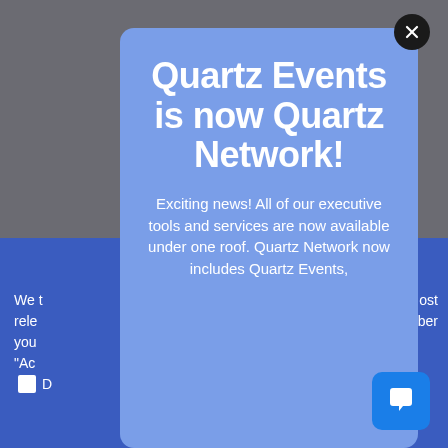Quartz Events is now Quartz Network!
Exciting news! All of our executive tools and services are now available under one roof. Quartz Network now includes Quartz Events,
We ... most rele... ber you... "Ac...
D...